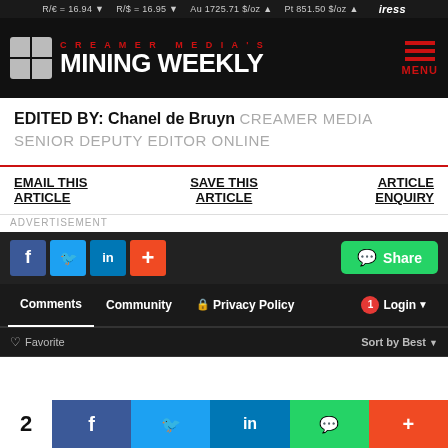R/€ = 16.94 ▼  R/$ = 16.95 ▼  Au 1725.71 $/oz ▲  Pt 851.50 $/oz ▲  iress
[Figure (logo): Creamer Media's Mining Weekly logo with grid icon and red menu lines]
EDITED BY: Chanel de Bruyn CREAMER MEDIA SENIOR DEPUTY EDITOR ONLINE
EMAIL THIS ARTICLE
SAVE THIS ARTICLE
ARTICLE ENQUIRY
ADVERTISEMENT
[Figure (other): Social sharing icons: Facebook, Twitter, LinkedIn, Plus, and WhatsApp Share button]
Comments  Community  Privacy Policy  1  Login
Favorite  Sort by Best
[Figure (other): Bottom share strip with count 2 and Facebook, Twitter, LinkedIn, WhatsApp, Plus icons]